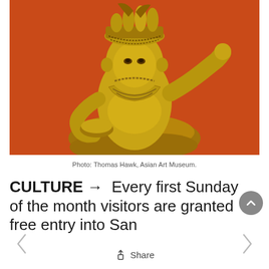[Figure (photo): A golden/bronze Hindu or Buddhist deity statue against an orange-red background, seated and decorated with ornate jewelry and crown. Photo by Thomas Hawk, Asian Art Museum.]
Photo: Thomas Hawk, Asian Art Museum.
CULTURE→  Every first Sunday of the month visitors are granted free entry into San